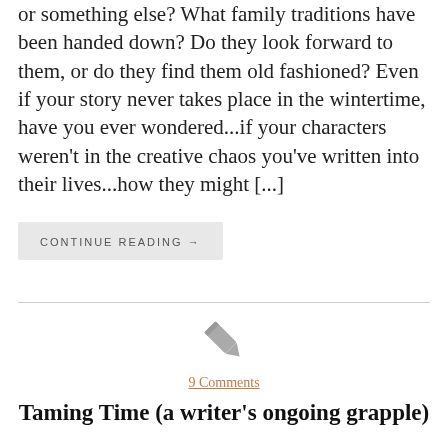or something else? What family traditions have been handed down? Do they look forward to them, or do they find them old fashioned? Even if your story never takes place in the wintertime, have you ever wondered...if your characters weren't in the creative chaos you've written into their lives...how they might [...]
CONTINUE READING →
[Figure (illustration): Small grey pencil icon]
9 Comments
Taming Time (a writer's ongoing grapple)